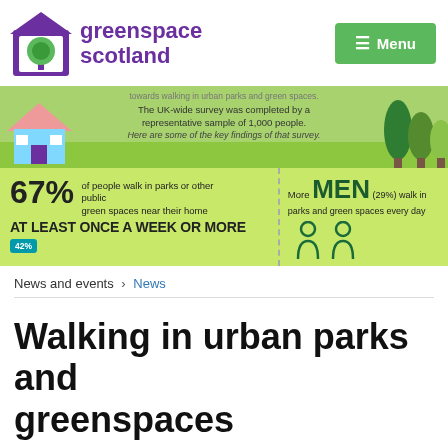[Figure (logo): Greenspace Scotland logo with purple house icon containing a green tree, and purple bold text 'greenspace scotland'. Green Menu button top right.]
[Figure (infographic): Infographic banner about walking in urban parks and green spaces. Text: 'The UK-wide survey was completed by a representative sample of 1,000 people. Here are some of the key findings of that survey.' Left stat: 67% of people walk in parks or other public green spaces near their home AT LEAST ONCE A WEEK OR MORE, with 42% bubble. Right stat: More MEN (29%) walk in parks and green spaces every day. Green background with illustrated house, trees, and person icons.]
News and events > News
Walking in urban parks and greenspaces